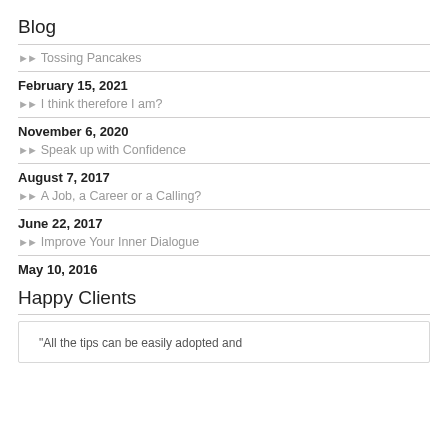Blog
Tossing Pancakes
February 15, 2021
I think therefore I am?
November 6, 2020
Speak up with Confidence
August 7, 2017
A Job, a Career or a Calling?
June 22, 2017
Improve Your Inner Dialogue
May 10, 2016
Happy Clients
“All the tips can be easily adopted and